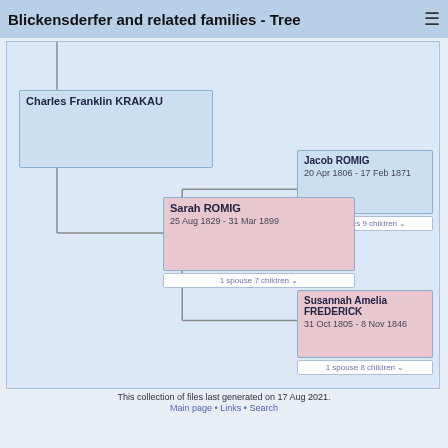Blickensderfer and related families - Tree
[Figure (organizational-chart): Genealogy tree showing Charles Franklin KRAKAU connected to Sarah ROMIG (25 Aug 1829 - 31 Mar 1899), whose parents are Jacob ROMIG (20 Apr 1806 - 17 Feb 1871) with 2 spouses 9 children, and Susannah Amelia FREDERICK (31 Oct 1805 - 8 Nov 1846) with 1 spouse 8 children. Sarah ROMIG shows 1 spouse 7 children.]
This collection of files last generated on 17 Aug 2021.
Main page • Links • Search